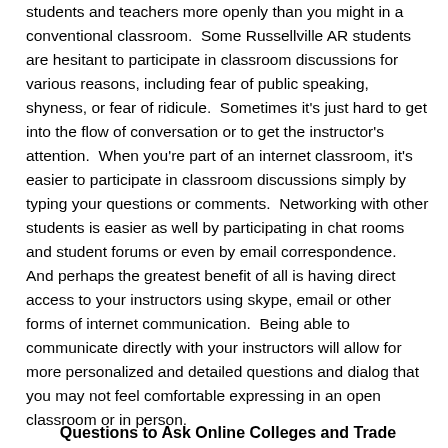students and teachers more openly than you might in a conventional classroom.  Some Russellville AR students are hesitant to participate in classroom discussions for various reasons, including fear of public speaking, shyness, or fear of ridicule.  Sometimes it's just hard to get into the flow of conversation or to get the instructor's attention.  When you're part of an internet classroom, it's easier to participate in classroom discussions simply by typing your questions or comments.  Networking with other students is easier as well by participating in chat rooms and student forums or even by email correspondence.  And perhaps the greatest benefit of all is having direct access to your instructors using skype, email or other forms of internet communication.  Being able to communicate directly with your instructors will allow for more personalized and detailed questions and dialog that you may not feel comfortable expressing in an open classroom or in person.
Questions to Ask Online Colleges and Trade